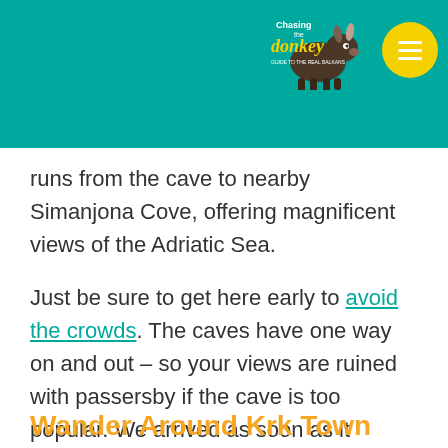[Figure (logo): Chasing the Donkey logo with donkey illustration on teal background header, with yellow circle menu button]
runs from the cave to nearby Simanjona Cove, offering magnificent views of the Adriatic Sea.
Just be sure to get here early to avoid the crowds. The caves have one way on and out – so your views are ruined with passersby if the cave is too popular. We arrived as soon as it opened and were already one of 10 people in line.
Wander Around Krk Town